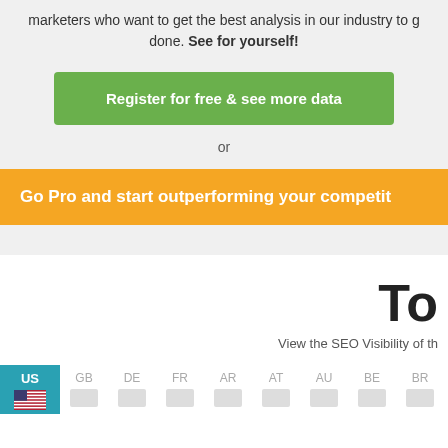marketers who want to get the best analysis in our industry to g... done. See for yourself!
Register for free & see more data
or
Go Pro and start outperforming your competi...
To
View the SEO Visibility of th...
US GB DE FR AR AT AU BE BR CA